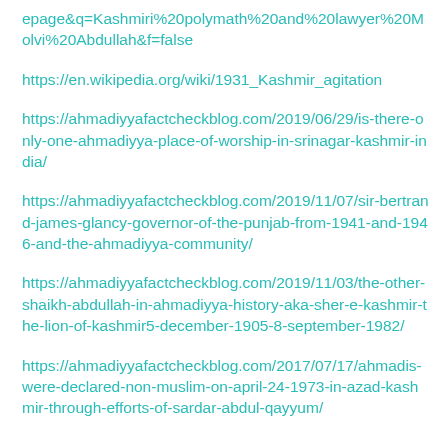epage&q=Kashmiri%20polymath%20and%20lawyer%20Molvi%20Abdullah&f=false
https://en.wikipedia.org/wiki/1931_Kashmir_agitation
https://ahmadiyyafactcheckblog.com/2019/06/29/is-there-only-one-ahmadiyya-place-of-worship-in-srinagar-kashmir-india/
https://ahmadiyyafactcheckblog.com/2019/11/07/sir-bertrand-james-glancy-governor-of-the-punjab-from-1941-and-1946-and-the-ahmadiyya-community/
https://ahmadiyyafactcheckblog.com/2019/11/03/the-other-shaikh-abdullah-in-ahmadiyya-history-aka-sher-e-kashmir-the-lion-of-kashmir5-december-1905-8-september-1982/
https://ahmadiyyafactcheckblog.com/2017/07/17/ahmadis-were-declared-non-muslim-on-april-24-1973-in-azad-kashmir-through-efforts-of-sardar-abdul-qayyum/